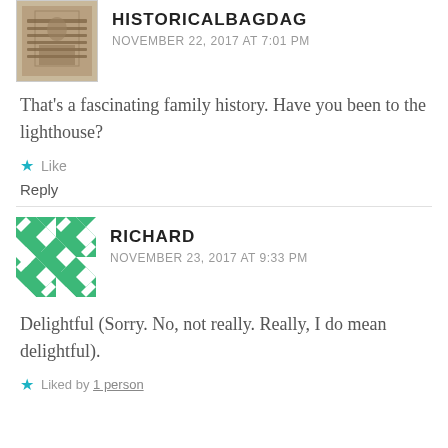[Figure (photo): Small square avatar thumbnail showing an old historical photograph of people]
HISTORICALBAGDAG
NOVEMBER 22, 2017 AT 7:01 PM
That's a fascinating family history. Have you been to the lighthouse?
Like
Reply
[Figure (illustration): Green quilt-pattern avatar icon for user Richard]
RICHARD
NOVEMBER 23, 2017 AT 9:33 PM
Delightful (Sorry. No, not really. Really, I do mean delightful).
Liked by 1 person